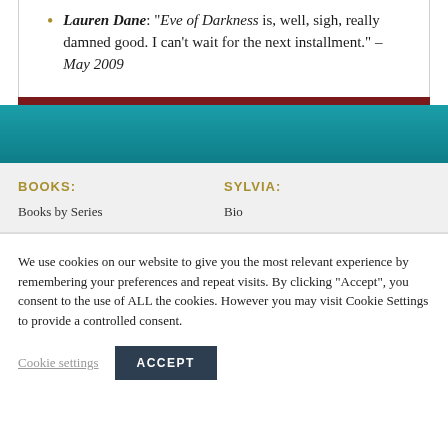Lauren Dane: "Eve of Darkness is, well, sigh, really damned good. I can't wait for the next installment." – May 2009
BOOKS:
Books by Series
SYLVIA:
Bio
We use cookies on our website to give you the most relevant experience by remembering your preferences and repeat visits. By clicking "Accept", you consent to the use of ALL the cookies. However you may visit Cookie Settings to provide a controlled consent.
Cookie settings   ACCEPT